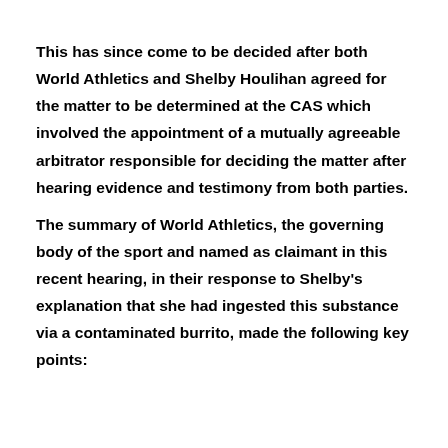This has since come to be decided after both World Athletics and Shelby Houlihan agreed for the matter to be determined at the CAS which involved the appointment of a mutually agreeable arbitrator responsible for deciding the matter after hearing evidence and testimony from both parties.
The summary of World Athletics, the governing body of the sport and named as claimant in this recent hearing, in their response to Shelby's explanation that she had ingested this substance via a contaminated burrito, made the following key points: